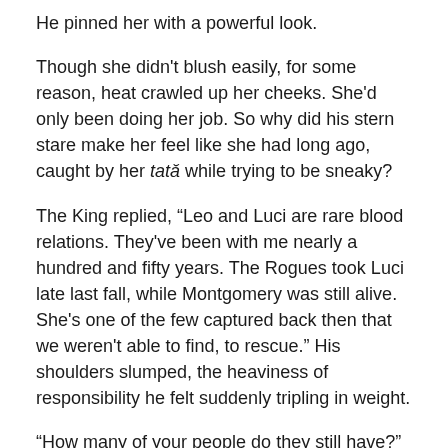He pinned her with a powerful look.
Though she didn't blush easily, for some reason, heat crawled up her cheeks. She'd only been doing her job. So why did his stern stare make her feel like she had long ago, caught by her tată while trying to be sneaky?
The King replied, “Leo and Luci are rare blood relations. They've been with me nearly a hundred and fifty years. The Rogues took Luci late last fall, while Montgomery was still alive. She's one of the few captured back then that we weren't able to find, to rescue.” His shoulders slumped, the heaviness of responsibility he felt suddenly tripling in weight.
“How many of your people do they still have?”
“That we believe are alive? Three.” His tone was low,